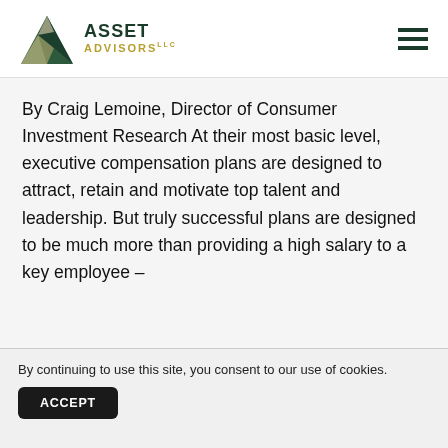[Figure (logo): Asset Advisors LLC logo with triangle graphic and company name in dark green and gold]
By Craig Lemoine, Director of Consumer Investment Research At their most basic level, executive compensation plans are designed to attract, retain and motivate top talent and leadership. But truly successful plans are designed to be much more than providing a high salary to a key employee –
By continuing to use this site, you consent to our use of cookies.